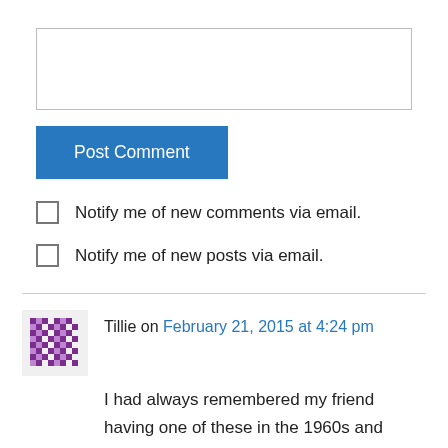[Figure (other): Text input / textarea box for comment entry]
Post Comment
Notify me of new comments via email.
Notify me of new posts via email.
Tillie on February 21, 2015 at 4:24 pm
I had always remembered my friend having one of these in the 1960s and wishing I had one. About eight years ago I was telling a friend in work my story and she said there was two in her mums that had belonged to her younger sisters. Imagine my delight when the next day she